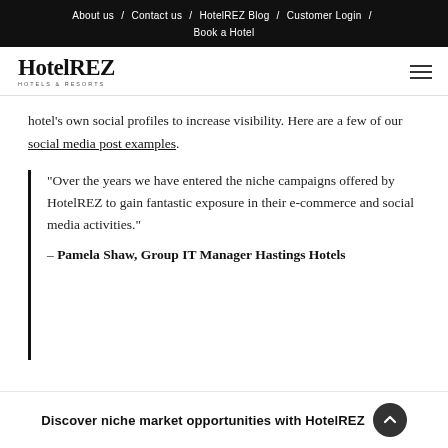About us / Contact us / HotelREZ Blog / Customer Login / Book a Hotel
[Figure (logo): HotelREZ Hotels & Resorts logo]
hotel's own social profiles to increase visibility. Here are a few of our social media post examples.
"Over the years we have entered the niche campaigns offered by HotelREZ to gain fantastic exposure in their e-commerce and social media activities." – Pamela Shaw, Group IT Manager Hastings Hotels
Discover niche market opportunities with HotelREZ